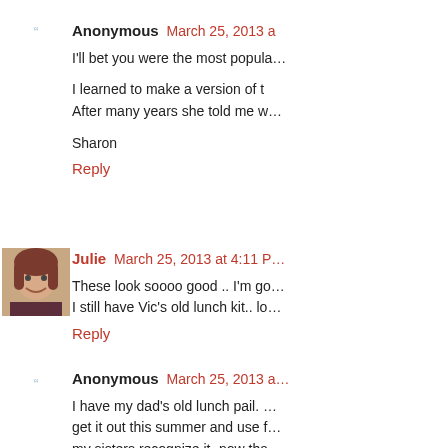Anonymous March 25, 2013 a…
I'll bet you were the most popula…
I learned to make a version of t… After many years she told me w…
Sharon
Reply
[Figure (photo): Profile photo of commenter Julie, a woman with reddish-brown hair smiling]
Julie March 25, 2013 at 4:11 P…
These look soooo good .. I'm go… I still have Vic's old lunch kit.. lo…
Reply
Anonymous March 25, 2013 a…
I have my dad's old lunch pail. … get it out this summer and use f… my sisters recognize it- now tha…